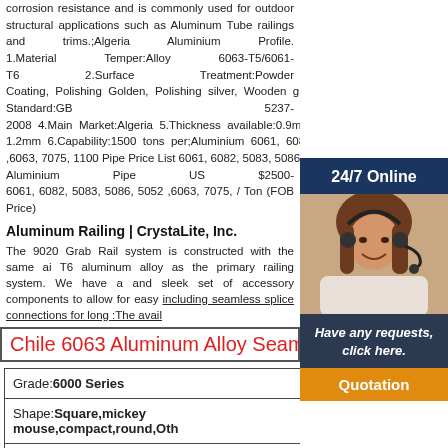corrosion resistance and is commonly used for outdoor structural applications such as Aluminum Tube railings and trims.;Algeria Aluminium Profile. 1.Material Temper:Alloy 6063-T5/6061-T6 2.Surface Treatment:Powder Coating, Polishing Golden, Polishing silver, Wooden grain 3.Quality Standard:GB 5237-2008 4.Main Market:Algeria 5.Thickness available:0.9mm-1.2mm 6.Capability:1500 tons per;Aluminium 6061, 6082, 5083, 5086, 5052 ,6063, 7075, 1100 Pipe Price List 6061, 6082, 5083, 5086, 5052 ,6063, 7075, 1100 Aluminium Pipe US $2500-6061, 6082, 5083, 5086, 5052 ,6063, 7075, / Ton (FOB Price)
Aluminum Railing | CrystaLite, Inc.
The 9020 Grab Rail system is constructed with the same ai T6 aluminum alloy as the primary railing system. We have and sleek set of accessory components to allow for easy including seamless splice connections for long :The avail
Chile 6063 Aluminum Alloy Seamless Barr
| Grade: | 6000 Series |
| Shape: | Square,mickey mouse,compact,round,Oth |
| Surface Treatment: | Anodized |
| Length: | Reuirement |
| Usage: | Decoration |
| Hardness: | HB 95 |